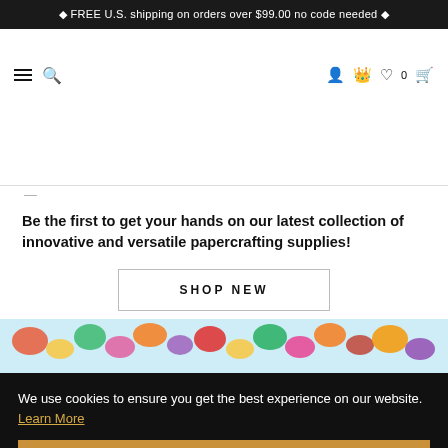🔶 FREE U.S. shipping on orders over $99.00 no code needed 🔶
[Figure (logo): Altenew logo with decorative ampersand in gold, tagline CRAFT YOUR LIFE]
Be the first to get your hands on our latest collection of innovative and versatile papercrafting supplies!
SHOP NEW
[Figure (photo): Colorful floral papercrafting supplies on light blue background]
We use cookies to ensure you get the best experience on our website. Learn More
ACCEPT IT
[Figure (photo): Bottom strip showing papercrafting product images with NEW label]